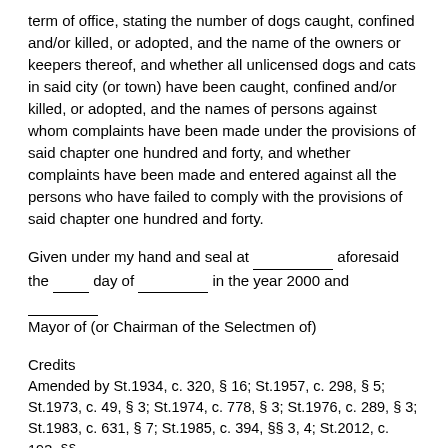term of office, stating the number of dogs caught, confined and/or killed, or adopted, and the name of the owners or keepers thereof, and whether all unlicensed dogs and cats in said city (or town) have been caught, confined and/or killed, or adopted, and the names of persons against whom complaints have been made under the provisions of said chapter one hundred and forty, and whether complaints have been made and entered against all the persons who have failed to comply with the provisions of said chapter one hundred and forty.
Given under my hand and seal at ____________ aforesaid the ____ day of __________ in the year 2000 and ___________ Mayor of (or Chairman of the Selectmen of)
Credits
Amended by St.1934, c. 320, § 16; St.1957, c. 298, § 5; St.1973, c. 49, § 3; St.1974, c. 778, § 3; St.1976, c. 289, § 3; St.1983, c. 631, § 7; St.1985, c. 394, §§ 3, 4; St.2012, c. 193, §§ 35 to 39; eff. Oct. 31, 2012.